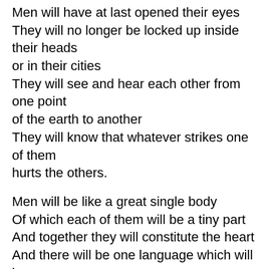Men will have at last opened their eyes
They will no longer be locked up inside their heads
or in their cities
They will see and hear each other from one point
of the earth to another
They will know that whatever strikes one of them
hurts the others.
Men will be like a great single body
Of which each of them will be a tiny part
And together they will constitute the heart
And there will be one language which will be
spoken by everyone and this is how the great
human being will be born.
32.  In the heart of the Year Thousand that comes
after Year Thousand